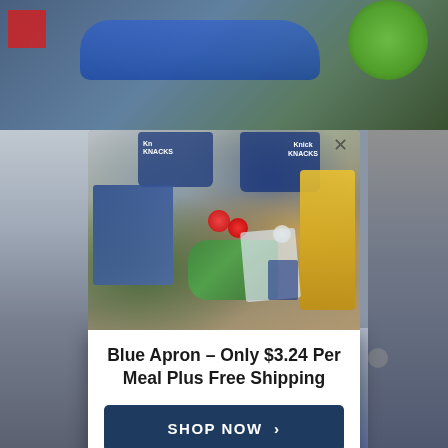[Figure (photo): Blurred outdoor background showing a blue car, red sign, and greenery]
[Figure (photo): Blue Apron meal kit contents spread on a table including Knick Knacks bags, recipe cards, green beans, radishes, garlic, yellow cheese package, and various fresh ingredients]
Blue Apron – Only $3.24 Per Meal Plus Free Shipping
SHOP NOW  >